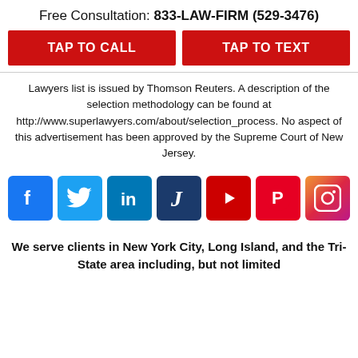Free Consultation: 833-LAW-FIRM (529-3476)
[Figure (infographic): Two red call-to-action buttons: TAP TO CALL and TAP TO TEXT]
Lawyers list is issued by Thomson Reuters. A description of the selection methodology can be found at http://www.superlawyers.com/about/selection_process. No aspect of this advertisement has been approved by the Supreme Court of New Jersey.
[Figure (infographic): Row of 7 social media icons: Facebook, Twitter, LinkedIn, Justia, YouTube, Pinterest, Instagram]
We serve clients in New York City, Long Island, and the Tri-State area including, but not limited